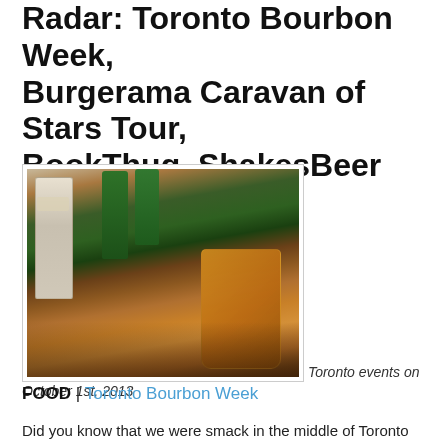Radar: Toronto Bourbon Week, Burgerama Caravan of Stars Tour, BookThug, ShakesBeer
[Figure (photo): Bar scene showing a glass of bourbon on the rocks with a Maker's Mark bottle and green wine/spirit bottles in the background on a wooden bar surface.]
Toronto events on October 1st, 2013
FOOD | Toronto Bourbon Week
Did you know that we were smack in the middle of Toronto Bourbon Week? Since Friday, this festival, celebrating the great American corn-based, distilled spirit, has been holding